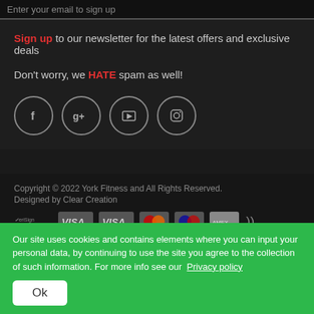Enter your email to sign up
Sign up to our newsletter for the latest offers and exclusive deals
Don't worry, we HATE spam as well!
[Figure (other): Four social media icon circles: Facebook (f), Google+ (g+), YouTube, Instagram]
Copyright © 2022 York Fitness and All Rights Reserved. Designed by Clear Creation
[Figure (other): Payment method logos: VeriSign, VISA, VISA, MasterCard, Maestro, American Express, and another card logo]
Our site uses cookies and contains elements where you can input your personal data, by continuing to use the site you agree to the collection of such information. For more info see our Privacy policy
Ok